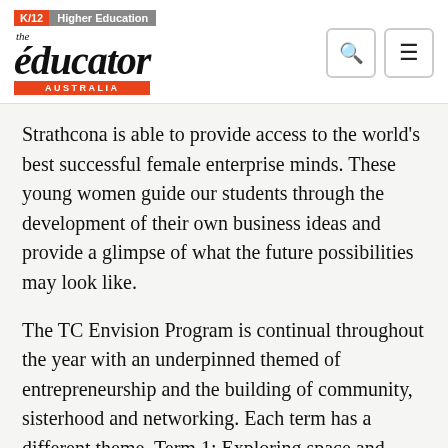K/12 | Higher Education — the educator AUSTRALIA
Strathcona is able to provide access to the world's best successful female enterprise minds. These young women guide our students through the development of their own business ideas and provide a glimpse of what the future possibilities may look like.
The TC Envision Program is continual throughout the year with an underpinned themed of entrepreneurship and the building of community, sisterhood and networking. Each term has a different theme. Term 1: Exploring space and